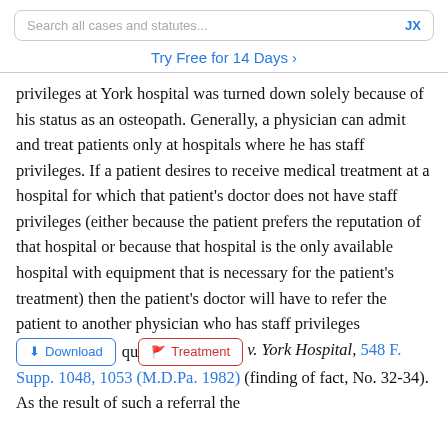Search all cases and statutes...   JX
Try Free for 14 Days >
privileges at York hospital was turned down solely because of his status as an osteopath. Generally, a physician can admit and treat patients only at hospitals where he has staff privileges. If a patient desires to receive medical treatment at a hospital for which that patient's doctor does not have staff privileges (either because the patient prefers the reputation of that hospital or because that hospital is the only available hospital with equipment that is necessary for the patient's treatment) then the patient's doctor will have to refer the patient to another physician who has staff privileges qu v. York Hospital, 548 F. Supp. 1048, 1053 (M.D.Pa. 1982) (finding of fact, No. 32-34). As the result of such a referral the